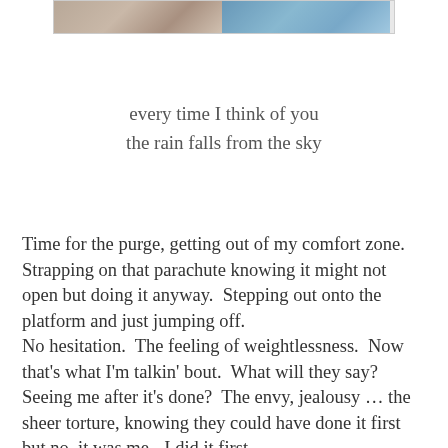[Figure (photo): Two photo thumbnails side by side in a bordered strip at the top of the page — left image appears to show a person or scene in warm tones, right image shows a blue-toned scene.]
every time I think of you
the rain falls from the sky
Time for the purge, getting out of my comfort zone. Strapping on that parachute knowing it might not open but doing it anyway.  Stepping out onto the platform and just jumping off.
No hesitation.  The feeling of weightlessness.  Now that's what I'm talkin' bout.  What will they say?  Seeing me after it's done?  The envy, jealousy … the sheer torture, knowing they could have done it first but no, it was me - I did it first.
I'm feeling better about myself.  Thinking maybe I'm long overdue for a change … embracing this rare opportunity to